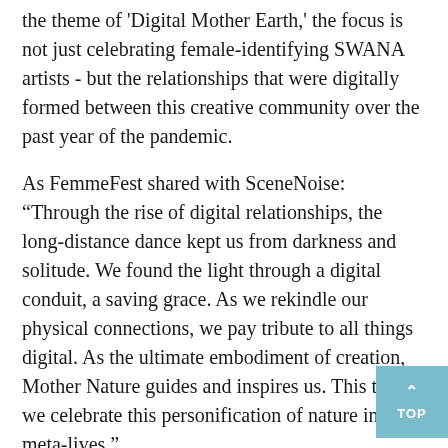the theme of 'Digital Mother Earth,' the focus is not just celebrating female-identifying SWANA artists - but the relationships that were digitally formed between this creative community over the past year of the pandemic.
As FemmeFest shared with SceneNoise: “Through the rise of digital relationships, the long-distance dance kept us from darkness and solitude. We found the light through a digital conduit, a saving grace. As we rekindle our physical connections, we pay tribute to all things digital. As the ultimate embodiment of creation, Mother Nature guides and inspires us. This time we celebrate this personification of nature in our meta-lives.”
Visitors of FemmeFest can look forward to an all-female identifying lineup boasting live musicians, singers, and DJs. In the spirit of edutainment, visitors can also benefit from the various workshops and panel discussions from the region’s leading experts in music